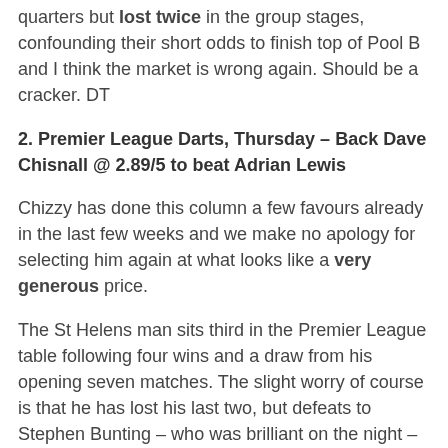quarters but lost twice in the group stages, confounding their short odds to finish top of Pool B and I think the market is wrong again. Should be a cracker. DT
2. Premier League Darts, Thursday – Back Dave Chisnall @ 2.89/5 to beat Adrian Lewis
Chizzy has done this column a few favours already in the last few weeks and we make no apology for selecting him again at what looks like a very generous price.
The St Helens man sits third in the Premier League table following four wins and a draw from his opening seven matches. The slight worry of course is that he has lost his last two, but defeats to Stephen Bunting – who was brilliant on the night – and Michael van Gerwen can happen at anytime in this format. This week Chizzy has an excellent chance to get back on track against the incredibly inconsistent Adrian Lewis.